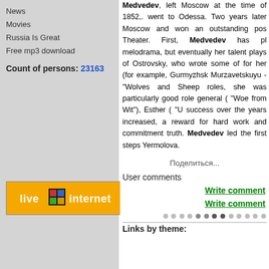News
Movies
Russia Is Great
Free mp3 download
Count of persons: 23163
[Figure (logo): LiveInternet logo badge, orange background with white text 'live internet' and a small colored grid icon]
Medvedev, left Moscow at the time of 1852,. went to Odessa. Two years later Moscow and won an outstanding position Theater. First, Medvedev has played melodrama, but eventually her talent plays of Ostrovsky, who wrote some of for her (for example, Gurmyzhsk Murzavetskuyu - "Wolves and Sheep roles, she was particularly good role general ( "Woe from Wit"), Esther ( "U success over the years increased, a reward for hard work and commitment truth. Medvedev led the first steps Yermolova.
Поделиться...
User comments
Write comment
Write comment
Links by theme: